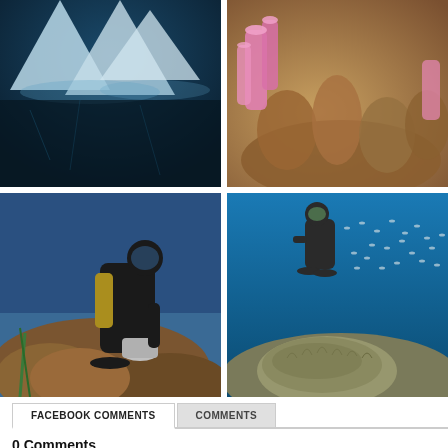[Figure (photo): Underwater iceberg scene with dark blue water and ice formations above]
[Figure (photo): Coral reef with pink sponges and brown coral formations]
[Figure (photo): Scuba diver in black wetsuit examining rocks and artifacts on the sea floor]
[Figure (photo): Scuba diver swimming above coral reef with large school of fish in blue water]
FACEBOOK COMMENTS
COMMENTS
0 Comments
Sort by  Newest